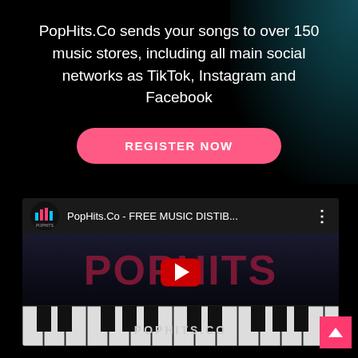PopHits.Co sends your songs to over 150 music stores, including all main social networks as TikTok, Instagram and Facebook
[Figure (screenshot): Pink rounded REGISTER NOW button on dark background]
[Figure (screenshot): Embedded YouTube video thumbnail showing PopHits.Co - FREE MUSIC DISTIB... with piano keyboard background, POPHITS large red text, YouTube play button, and POPHITS.CO label at bottom]